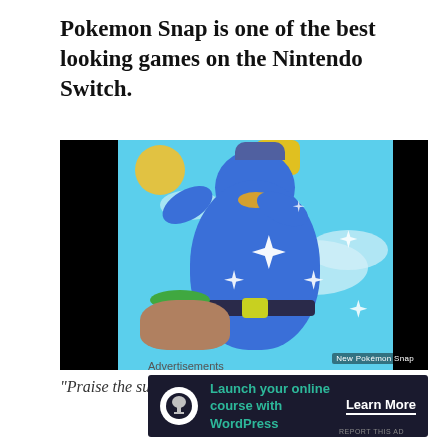Pokemon Snap is one of the best looking games on the Nintendo Switch.
[Figure (photo): Screenshot from New Pokémon Snap showing a blue bird-like Pokémon (Swanna or similar) with arms raised in a 'praise the sun' pose, surrounded by sparkles, against a bright sky background. Watermark reads 'New Pokémon Snap'.]
“Praise the sun!”
Advertisements
[Figure (other): Advertisement banner: dark background with circular icon showing a tree/person figure. Text reads 'Launch your online course with WordPress' in teal, with 'Learn More' button underlined in white.]